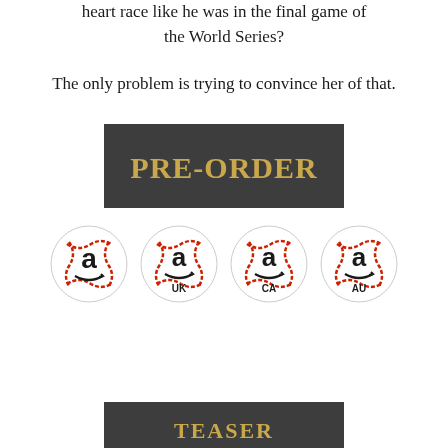heart race like he was in the final game of the World Series?
The only problem is trying to convince her of that.
[Figure (illustration): Dark gray rectangular button with gold bold text reading PRE-ORDER]
[Figure (illustration): Four Amazon baseball icons in a row: plain Amazon, Amazon UK, Amazon CA, Amazon AU]
[Figure (illustration): Dark gray rectangular button with partial gold text reading TEASER at bottom of page]